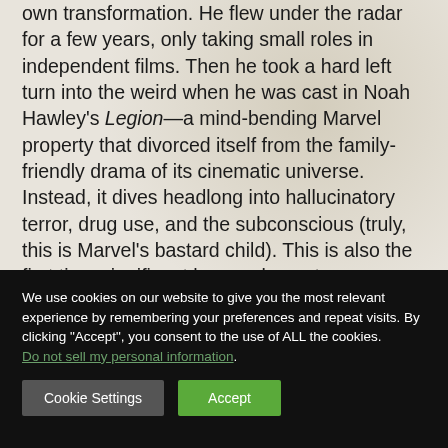own transformation. He flew under the radar for a few years, only taking small roles in independent films. Then he took a hard left turn into the weird when he was cast in Noah Hawley's Legion—a mind-bending Marvel property that divorced itself from the family-friendly drama of its cinematic universe. Instead, it dives headlong into hallucinatory terror, drug use, and the subconscious (truly, this is Marvel's bastard child). This is also the first time significant horror elements
We use cookies on our website to give you the most relevant experience by remembering your preferences and repeat visits. By clicking "Accept", you consent to the use of ALL the cookies. Do not sell my personal information.
Cookie Settings   Accept